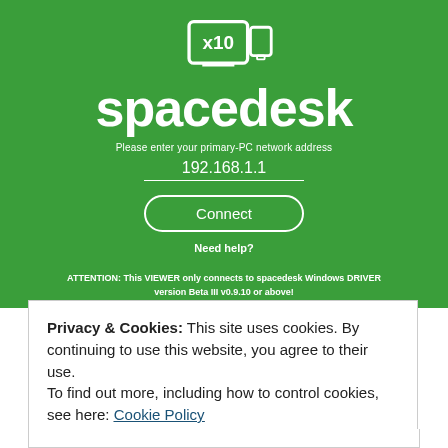[Figure (screenshot): Spacedesk app screenshot on green background showing X10 logo, spacedesk brand name, IP address input field with '192.168.1.1', Connect button, Need help? link, and attention notice about Windows DRIVER version.]
Privacy & Cookies: This site uses cookies. By continuing to use this website, you agree to their use.
To find out more, including how to control cookies, see here: Cookie Policy
Close and accept